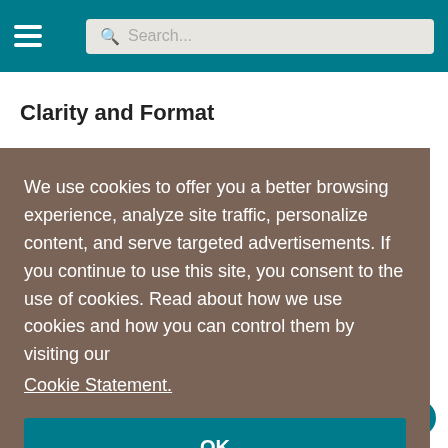Navigation bar with hamburger menu and search box
Clarity and Format
[Figure (screenshot): Cookie consent modal overlay with teal background header bar, brown modal body containing cookie notice text and a Cookie Statement link, and an OK button]
The overall strategy, methodology, research design, and